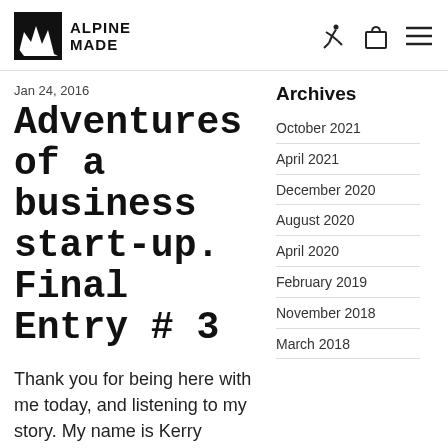Alpine Made — navigation header with logo, cart, and menu icons
Jan 24, 2016
Adventures of a business start-up. Final Entry # 3
Thank you for being here with me today, and listening to my story. My name is Kerry Beiter; I'm an organic
Archives
October 2021
April 2021
December 2020
August 2020
April 2020
February 2019
November 2018
March 2018